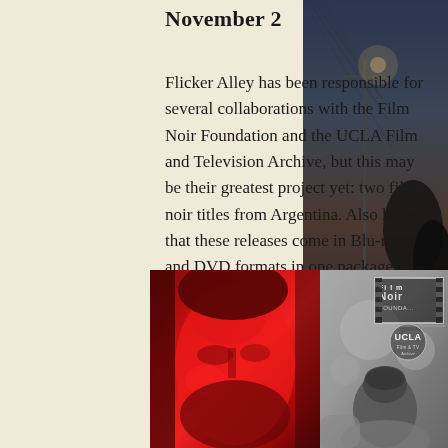November 2
Flicker Alley has been responsible for several collaborations with the Film Noir Foundation and the UCLA Film and Television Archive, but this may be their greatest project yet: two film noir titles from Argentina. Also know that these releases come in Blu-ray and DVD formats in one package. Both releases are also region free.
[Figure (photo): Bottom composite image: left half shows a man's face with red tint lighting, right half shows a black-and-white image of a woman. In the upper right of the composite are the Film Noir Foundation and UCLA logos.]